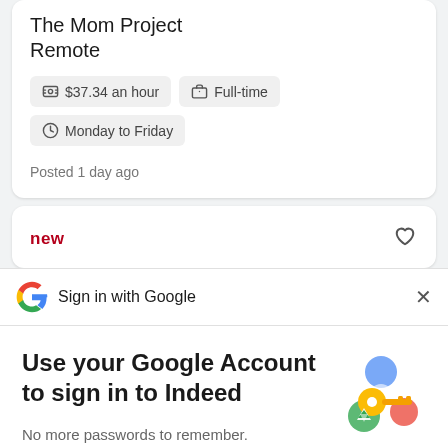The Mom Project
Remote
💰 $37.34 an hour
🗂 Full-time
🕐 Monday to Friday
Posted 1 day ago
new
Sign in with Google
Use your Google Account to sign in to Indeed
No more passwords to remember.
Signing in is fast, simple and secure.
[Figure (illustration): Colorful key illustration with circular icons representing Google sign-in security]
Continue